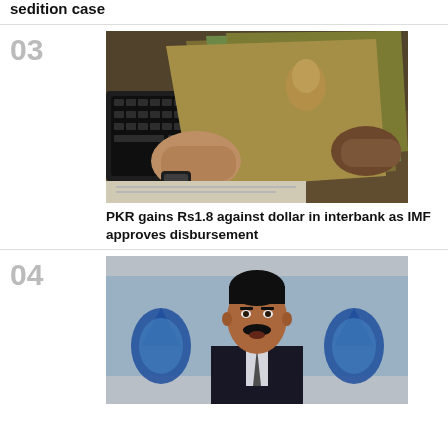sedition case
03
[Figure (photo): Hands counting Pakistani rupee banknotes near a keyboard]
PKR gains Rs1.8 against dollar in interbank as IMF approves disbursement
04
[Figure (photo): Man in suit speaking at a podium with blue water drop logos in background]